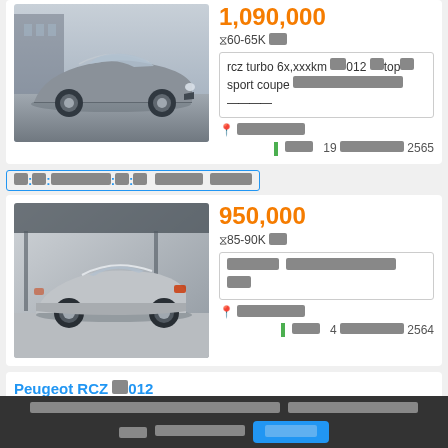[Figure (photo): Silver Peugeot RCZ coupe, side/front view, parked outdoors]
1,090,000
60-65K ██
rcz turbo 6x,xxxkm ██012 ██top██ sport coupe ██████████████
█ ███████
19 ████████ 2565
███::█████████::███ ██████ █████
[Figure (photo): Silver Peugeot RCZ coupe, rear/side view, parked in showroom]
950,000
85-90K ██
██████ █████████████████ ██
█ ███████
4 ████████ 2564
Peugeot RCZ ██012
████████████████████████████::█████████████████████████████████ ████ ████████████████ ███████